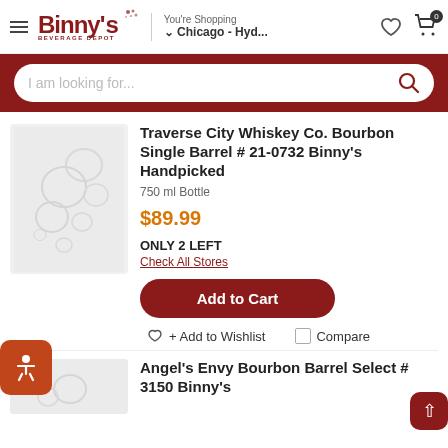Binny's Beverage Depot — You're Shopping Chicago - Hyd...
I am looking for...
Traverse City Whiskey Co. Bourbon Single Barrel # 21-0732 Binny's Handpicked
750 ml Bottle
$89.99
ONLY 2 LEFT
Check All Stores
Add to Cart
Add to Wishlist
Compare
Angel's Envy Bourbon Barrel Select # 3150 Binny's